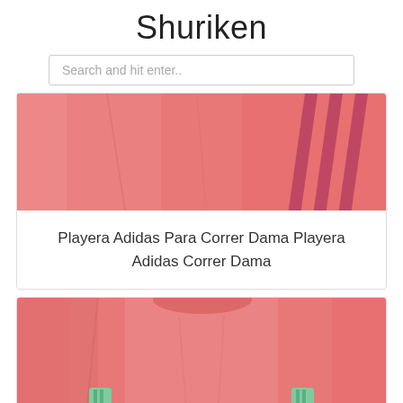Shuriken
[Figure (screenshot): Search bar with placeholder text 'Search and hit enter..']
[Figure (photo): Close-up of a coral/salmon colored Adidas running shirt for women, showing three dark stripes on the side]
Playera Adidas Para Correr Dama Playera Adidas Correr Dama
[Figure (photo): Coral/salmon colored long-sleeve running shirt for women with green zipper pockets on the sides]